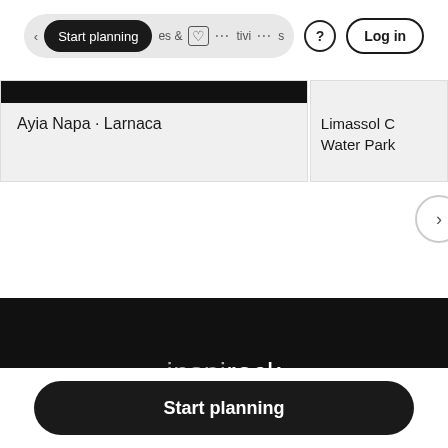[Figure (screenshot): Navigation bar with 'Start planning' dark pill button, 'es & Activities' text with icons, question mark icon, and 'Log in' outlined button]
Ayia Napa · Larnaca
Limassol C Water Park
inspirock
Start planning